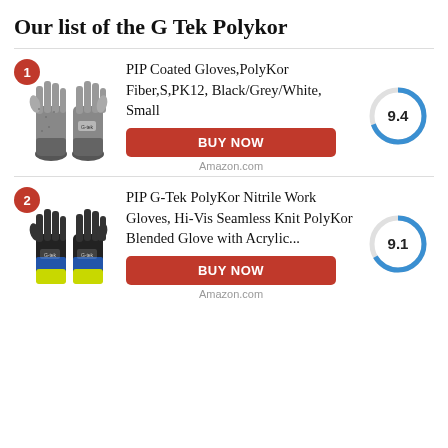Our list of the G Tek Polykor
[Figure (other): Product listing item 1: Grey/black PIP coated gloves image with rank badge 1, product name, buy now button, Amazon.com label, and 9.4 score donut chart]
[Figure (other): Product listing item 2: Black/blue/yellow PIP G-Tek PolyKor gloves image with rank badge 2, product name, buy now button, Amazon.com label, and 9.1 score donut chart]